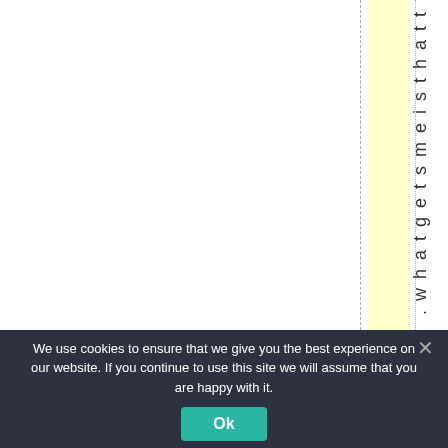[Figure (other): Document page with vertical dashed and dotted lines, a yellow highlighted vertical column, and vertical text reading '.whatgetsmeis that t' rotated 90 degrees]
We use cookies to ensure that we give you the best experience on our website. If you continue to use this site we will assume that you are happy with it.